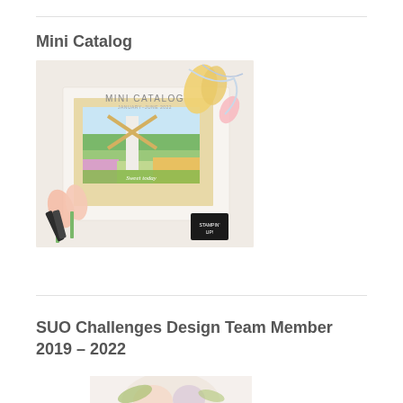Mini Catalog
[Figure (photo): Stampin' Up! Mini Catalog cover showing a windmill card with tulips, markers, and ribbon on a white background.]
SUO Challenges Design Team Member 2019 – 2022
[Figure (photo): Partial view of floral image, likely design team badge or graphic, cropped at bottom of page.]